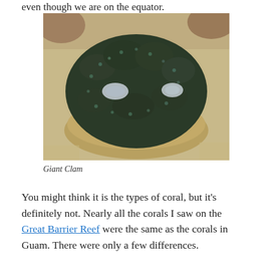even though we are on the equator.
[Figure (photo): Overhead close-up photograph of a Giant Clam resting on sandy ocean floor, showing dark green bumpy mantle with two siphon openings visible, and tan/brown ribbed shell underneath.]
Giant Clam
You might think it is the types of coral, but it's definitely not. Nearly all the corals I saw on the Great Barrier Reef were the same as the corals in Guam. There were only a few differences.